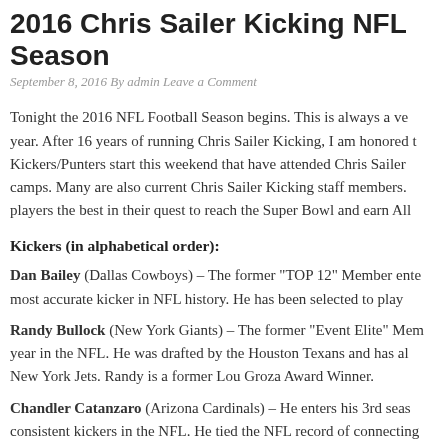2016 Chris Sailer Kicking NFL Season
September 8, 2016 By admin Leave a Comment
Tonight the 2016 NFL Football Season begins. This is always a very exciting time of year. After 16 years of running Chris Sailer Kicking, I am honored to have many Kickers/Punters start this weekend that have attended Chris Sailer Kicking camps. Many are also current Chris Sailer Kicking staff members. I wish all of these players the best in their quest to reach the Super Bowl and earn All Pro honors.
Kickers (in alphabetical order):
Dan Bailey (Dallas Cowboys) – The former "TOP 12" Member enters the 2016 season as the most accurate kicker in NFL history. He has been selected to play in multiple Pro Bowls.
Randy Bullock (New York Giants) – The former "Event Elite" Member enters his 5th year in the NFL. He was drafted by the Houston Texans and has also played for the New York Jets. Randy is a former Lou Groza Award Winner.
Chandler Catanzaro (Arizona Cardinals) – He enters his 3rd season and is one of the most consistent kickers in the NFL. He tied the NFL record of connecting on all 16 of his field goals attempts as a rookie in 2014 (tied fellow Chris Sailer Kicking member).